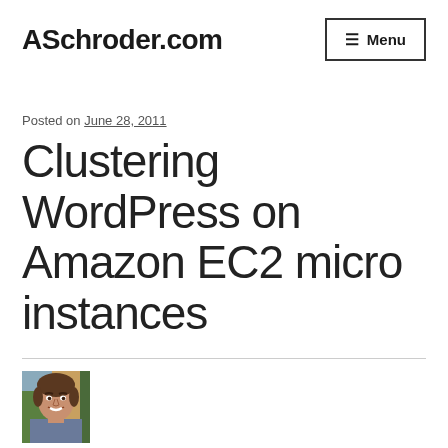ASchroder.com
Posted on June 28, 2011
Clustering WordPress on Amazon EC2 micro instances
[Figure (photo): Author headshot photo — man smiling, brown hair, outdoors background]